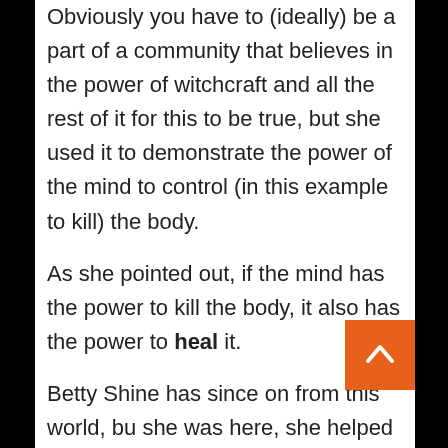Obviously you have to (ideally) be a part of a community that believes in the power of witchcraft and all the rest of it for this to be true, but she used it to demonstrate the power of the mind to control (in this example to kill) the body.

As she pointed out, if the mind has the power to kill the body, it also has the power to heal it.

Betty Shine has since on from this world, bu she was here, she helped me when I inadvertently crossed